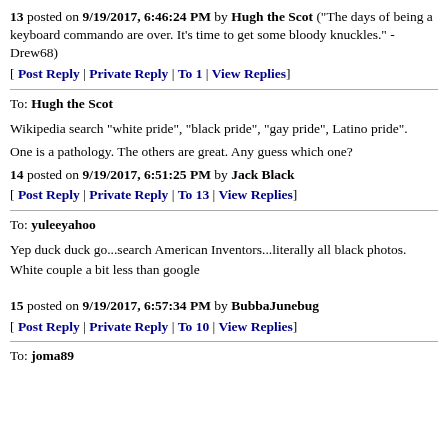13 posted on 9/19/2017, 6:46:24 PM by Hugh the Scot ("The days of being a keyboard commando are over. It's time to get some bloody knuckles." - Drew68)
[ Post Reply | Private Reply | To 1 | View Replies]
To: Hugh the Scot
Wikipedia search "white pride", "black pride", "gay pride", Latino pride".
One is a pathology. The others are great. Any guess which one?
14 posted on 9/19/2017, 6:51:25 PM by Jack Black
[ Post Reply | Private Reply | To 13 | View Replies]
To: yuleeyahoo
Yep duck duck go...search American Inventors...literally all black photos. White couple a bit less than google
15 posted on 9/19/2017, 6:57:34 PM by BubbaJunebug
[ Post Reply | Private Reply | To 10 | View Replies]
To: joma89